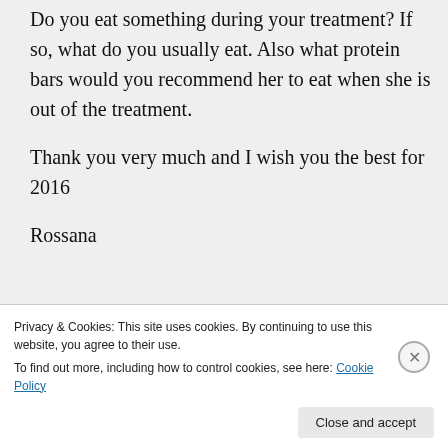Do you eat something during your treatment? If so, what do you usually eat. Also what protein bars would you recommend her to eat when she is out of the treatment.

Thank you very much and I wish you the best for 2016

Rossana
★ Like
Privacy & Cookies: This site uses cookies. By continuing to use this website, you agree to their use.
To find out more, including how to control cookies, see here: Cookie Policy
Close and accept